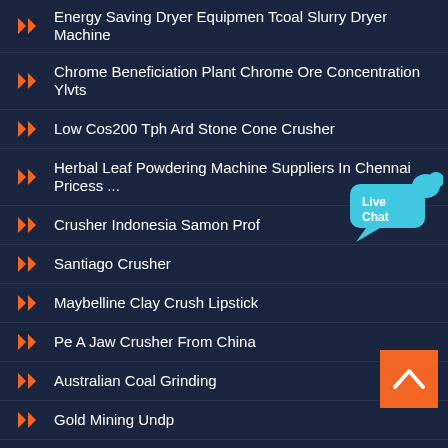Energy Saving Dryer Equipmen Tcoal Slurry Dryer Machine
Chrome Beneficiation Plant Chrome Ore Concentration Ylvts
Low Cos200 Tph Ard Stone Cone Crusher
Herbal Leaf Powdering Machine Suppliers In Chennai Pricess ...
Crusher Indonesia Samon Prof
Santiago Crusher
Maybelline Clay Crush Lipstick
Pe A Jaw Crusher From China
Australian Coal Grinding
Gold Mining Undp
Swedish Crushing Machines
[Figure (illustration): Live Chat speech bubble widget with cyan color and 'Live Chat' text]
[Figure (illustration): Orange back-to-top button with upward chevron arrow]